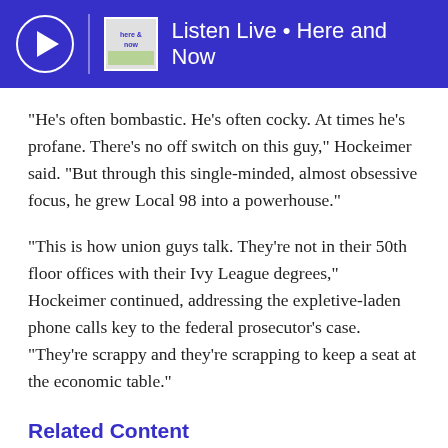Listen Live • Here and Now
“He’s often bombastic. He’s often cocky. At times he’s profane. There’s no off switch on this guy,” Hockeimer said. “But through this single-minded, almost obsessive focus, he grew Local 98 into a powerhouse.”
“This is how union guys talk. They’re not in their 50th floor offices with their Ivy League degrees,” Hockeimer continued, addressing the expletive-laden phone calls key to the federal prosecutor’s case. “They’re scrappy and they’re scrapping to keep a seat at the economic table.”
Related Content
COURTS & LAW